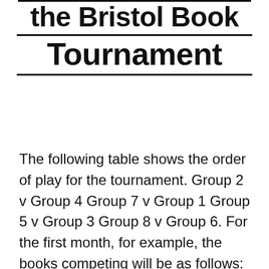the Bristol Book Tournament
The following table shows the order of play for the tournament. Group 2 v Group 4 Group 7 v Group 1 Group 5 v Group 3 Group 8 v Group 6. For the first month, for example, the books competing will be as follows: Julian Barnes' The Sense of an Ending vs CJ Flood's Infinite [...]